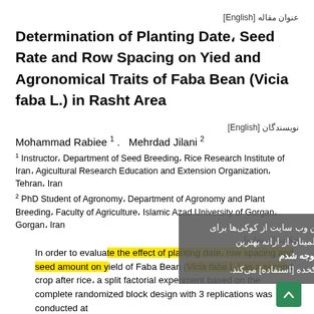عنوان مقاله [English]
Determination of Planting Date، Seed Rate and Row Spacing on Yied and Agronomical Traits of Faba Bean (Vicia faba L.) in Rasht Area
نویسندگان [English]
Mohammad Rabiee 1 .   Mehrdad Jilani 2
1 Instructor، Department of Seed Breeding، Rice Research Institute of Iran، Agicultural Research Education and Extension Organization، Tehran، Iran
2 PhD Student of Agronomy، Department of Agronomy and Plant Breeding، Faculty of Agriculture، Islamic Azad University of Gorgan، Gorgan، Iran
چکیده [استفاده]
In order to evaluate the effect of planting date، row spacing and seed amount on yield of Faba Bean (Vicia faba L.) as a second crop after rice، a split factorial experiment based on the complete randomized block design with 3 replications was conducted at